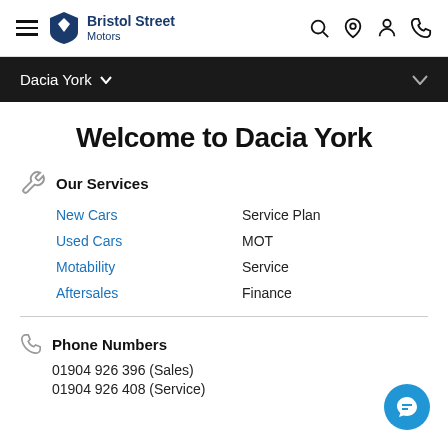Bristol Street Motors — Navigation bar with logo, hamburger menu, search, location, account, and phone icons
Dacia York
Welcome to Dacia York
Our Services
New Cars
Service Plan
Used Cars
MOT
Motability
Service
Aftersales
Finance
Phone Numbers
01904 926 396 (Sales)
01904 926 408 (Service)